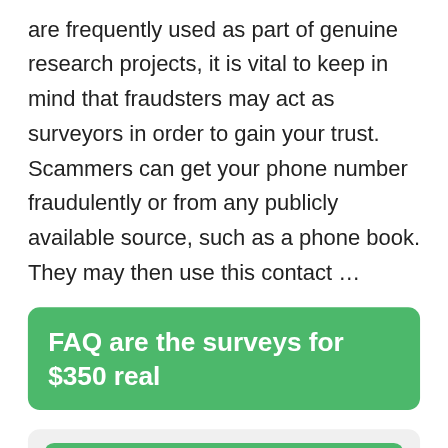are frequently used as part of genuine research projects, it is vital to keep in mind that fraudsters may act as surveyors in order to gain your trust. Scammers can get your phone number fraudulently or from any publicly available source, such as a phone book. They may then use this contact …
FAQ are the surveys for $350 real
Can you really make